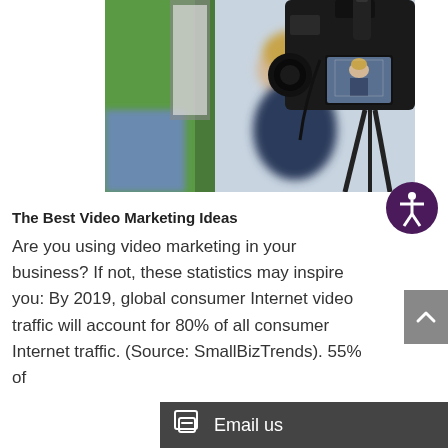[Figure (photo): A blurred photo of a woman being filmed by a camera with a Rode microphone on top; the camera's LCD screen shows the woman in frame; green screen visible in background]
The Best Video Marketing Ideas
Are you using video marketing in your business? If not, these statistics may inspire you: By 2019, global consumer Internet video traffic will account for 80% of all consumer Internet traffic. (Source: SmallBizTrends). 55% of